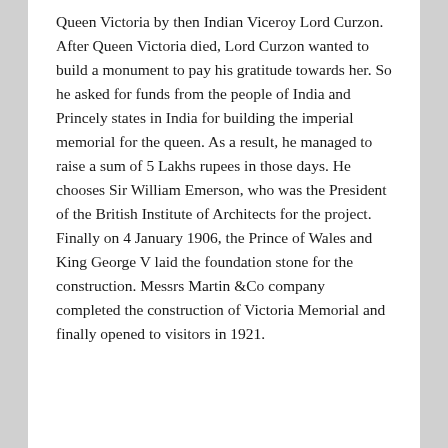Queen Victoria by then Indian Viceroy Lord Curzon. After Queen Victoria died, Lord Curzon wanted to build a monument to pay his gratitude towards her. So he asked for funds from the people of India and Princely states in India for building the imperial memorial for the queen. As a result, he managed to raise a sum of 5 Lakhs rupees in those days. He chooses Sir William Emerson, who was the President of the British Institute of Architects for the project. Finally on 4 January 1906, the Prince of Wales and King George V laid the foundation stone for the construction. Messrs Martin &Co company completed the construction of Victoria Memorial and finally opened to visitors in 1921.